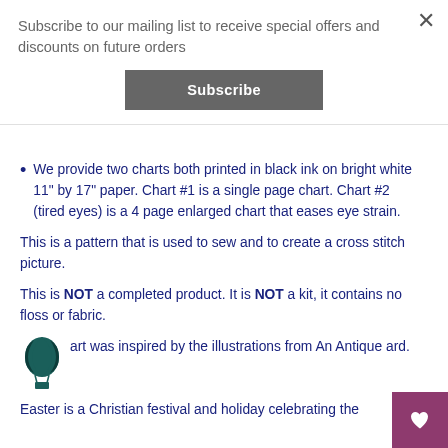Subscribe to our mailing list to receive special offers and discounts on future orders
Subscribe
We provide two charts both printed in black ink on bright white 11" by 17" paper. Chart #1 is a single page chart. Chart #2 (tired eyes) is a 4 page enlarged chart that eases eye strain.
This is a pattern that is used to sew and to create a cross stitch picture.
This is NOT a completed product. It is NOT a kit, it contains no floss or fabric.
art was inspired by the illustrations from An Antique ard.
Easter is a Christian festival and holiday celebrating the